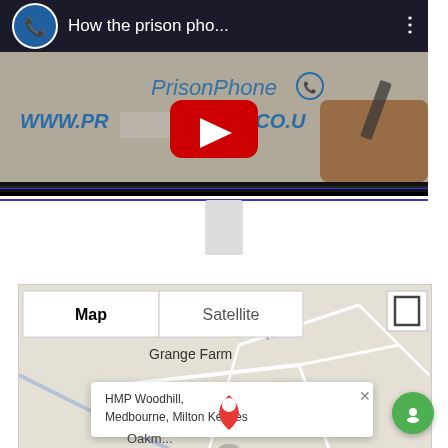[Figure (screenshot): YouTube video thumbnail showing 'How the prison pho...' with PrisonPhone branding and www.prisonphone.co.uk URL visible, with a red YouTube play button overlay]
[Figure (map): Google Maps embed showing location of HMP Woodhill, Medbourne, Milton Keynes with Map/Satellite toggle controls and a red location pin]